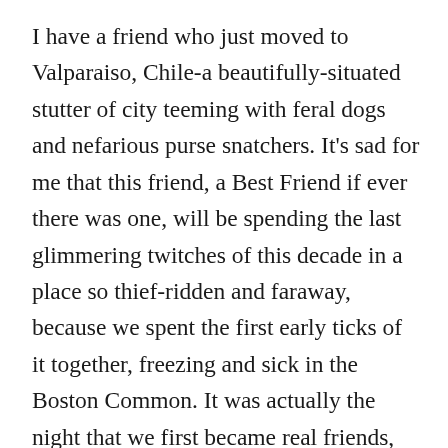I have a friend who just moved to Valparaiso, Chile-a beautifully-situated stutter of city teeming with feral dogs and nefarious purse snatchers. It's sad for me that this friend, a Best Friend if ever there was one, will be spending the last glimmering twitches of this decade in a place so thief-ridden and faraway, because we spent the first early ticks of it together, freezing and sick in the Boston Common. It was actually the night that we first became real friends, not just two kids working on a play together, not just two people who occasionally passed each other in the same lazy social orbit. We bonded that night, felt a first giddy fear and excitement together. It was New Year's Eve 1999, that heady night when it felt like the world could maybe, just maybe, end entirely. Because